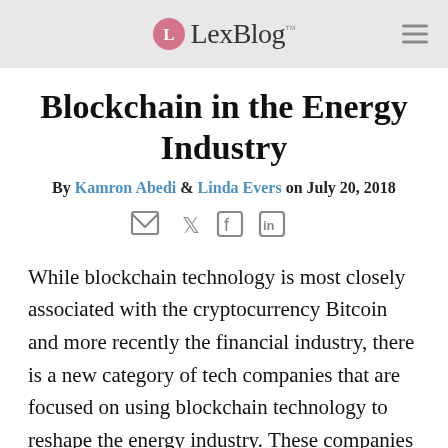LexBlog
Blockchain in the Energy Industry
By Kamron Abedi & Linda Evers on July 20, 2018
[Figure (other): Social sharing icons: email, Twitter, Facebook, LinkedIn]
While blockchain technology is most closely associated with the cryptocurrency Bitcoin and more recently the financial industry, there is a new category of tech companies that are focused on using blockchain technology to reshape the energy industry. These companies are using blockchain in order to help utility